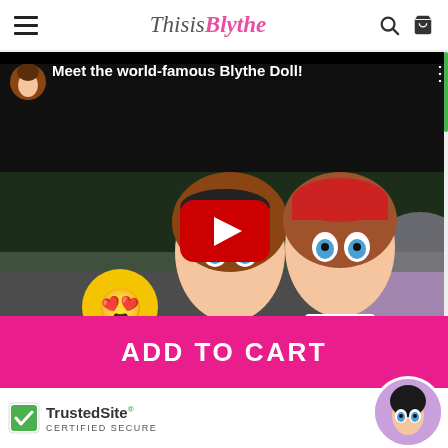ThisisBlythe — hamburger menu, search, cart icons
[Figure (screenshot): YouTube video thumbnail showing two Blythe dolls with big blue eyes, styled in streetwear (BAPE/APE t-shirts), a small dog, heart-eyes emoji, and an arrow emoji. Red YouTube play button in center. Title: 'Meet the world-famous Blythe Doll!']
ADD TO CART
[Figure (logo): TrustedSite certified secure badge with green checkmark]
TrustedSite CERTIFIED SECURE